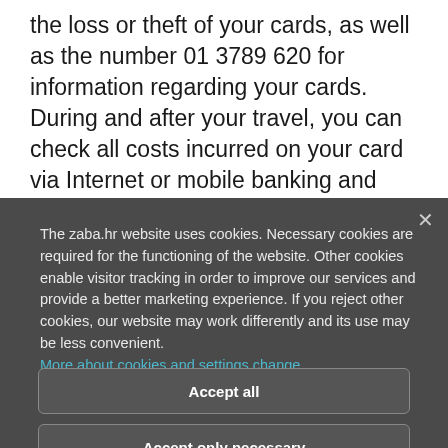the loss or theft of your cards, as well as the number 01 3789 620 for information regarding your cards. During and after your travel, you can check all costs incurred on your card via Internet or mobile banking and after receiving the Notification of the costs incurred
The zaba.hr website uses cookies. Necessary cookies are required for the functioning of the website. Other cookies enable visitor tracking in order to improve our services and provide a better marketing experience. If you reject other cookies, our website may work differently and its use may be less convenient.
More about cookies and settings change
Accept all
Accept only necessary